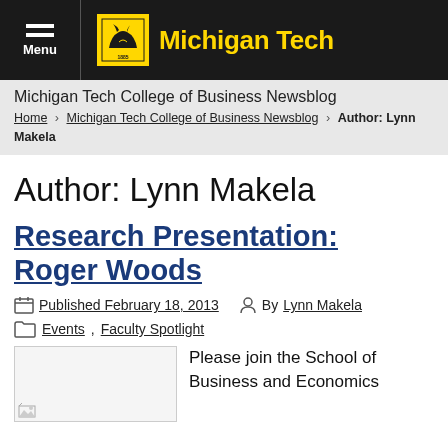Michigan Tech
Michigan Tech College of Business Newsblog
Home > Michigan Tech College of Business Newsblog > Author: Lynn Makela
Author: Lynn Makela
Research Presentation: Roger Woods
Published February 18, 2013  By Lynn Makela
Events, Faculty Spotlight
Please join the School of Business and Economics